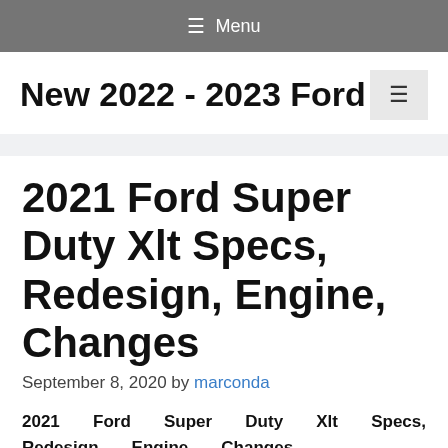≡ Menu
New 2022 - 2023 Ford
2021 Ford Super Duty Xlt Specs, Redesign, Engine, Changes
September 8, 2020 by marconda
2021 Ford Super Duty Xlt Specs, Redesign, Engine, Changes – TheExtremelyTask portion was up-to-date